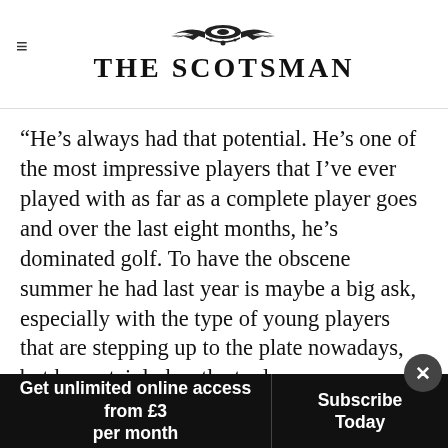THE SCOTSMAN
"He's always had that potential. He's one of the most impressive players that I've ever played with as far as a complete player goes and over the last eight months, he's dominated golf. To have the obscene summer he had last year is maybe a big ask, especially with the type of young players that are stepping up to the plate nowadays, but he certainly has the tools.
[Figure (other): Advertisement banner: Parallaxe s Capital, LLC — Alternative Asset Management — OPEN button]
Get unlimited online access from £3 per month | Subscribe Today